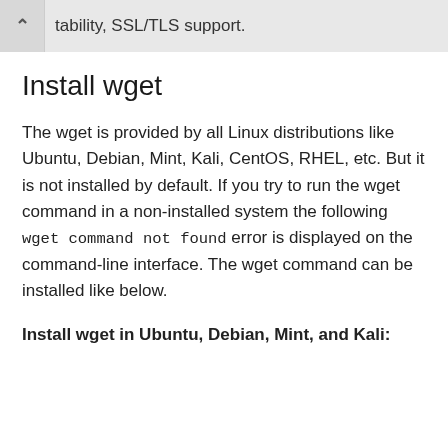tability, SSL/TLS support.
Install wget
The wget is provided by all Linux distributions like Ubuntu, Debian, Mint, Kali, CentOS, RHEL, etc. But it is not installed by default. If you try to run the wget command in a non-installed system the following wget command not found error is displayed on the command-line interface. The wget command can be installed like below.
Install wget in Ubuntu, Debian, Mint, and Kali: